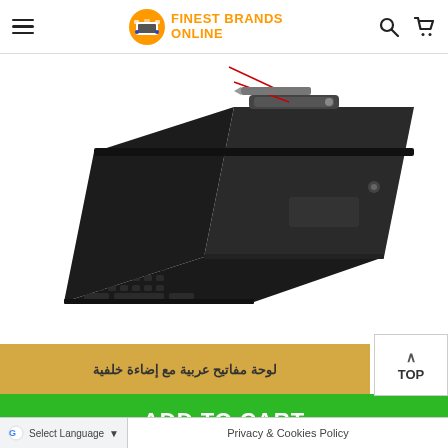Finest Brands Online
[Figure (photo): Black tablet keyboard folio case with wireless keyboard at bottom, tablet propped up at an angle, with a stylus pen visible at top of case. Red annotation lines pointing to stylus area. Product displayed on white background.]
لوحة مفاتيح عربية مع إضاءة خلفية
ADD TO CART
G Select Language ▼  |  Privacy & Cookies Policy